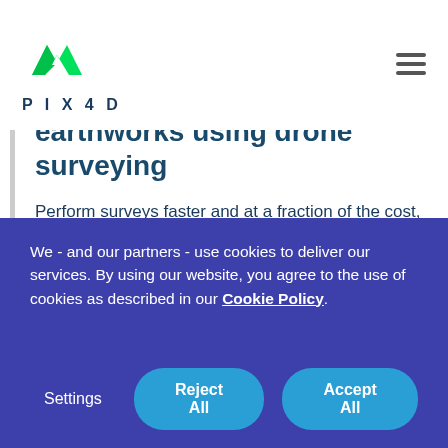PIX4D
earthworks using drone surveying
Perform surveys faster and at a fraction of the cost, while capturing millions of detailed points for:
Topographic survey
Visual records of excavation
We - and our partners - use cookies to deliver our services. By using our website, you agree to the use of cookies as described in our Cookie Policy.
Settings | Reject All | Accept All